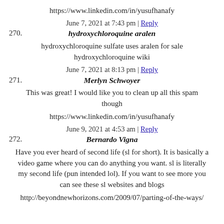https://www.linkedin.com/in/yusufhanafy
270. June 7, 2021 at 7:43 pm | Reply
hydroxychloroquine aralen
hydroxychloroquine sulfate uses aralen for sale hydroxychloroquine wiki
271. June 7, 2021 at 8:13 pm | Reply
Merlyn Schwoyer
This was great! I would like you to clean up all this spam though
https://www.linkedin.com/in/yusufhanafy
272. June 9, 2021 at 4:53 am | Reply
Bernardo Vigna
Have you ever heard of second life (sl for short). It is basically a video game where you can do anything you want. sl is literally my second life (pun intended lol). If you want to see more you can see these sl websites and blogs
http://beyondnewhorizons.com/2009/07/parting-of-the-ways/